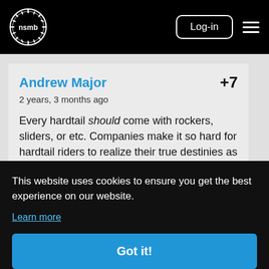NSMB - Log-in
Andrew Major +7
2 years, 3 months ago

Every hardtail should come with rockers, sliders, or etc. Companies make it so hard for hardtail riders to realize their true destinies as single speeders.
This website uses cookies to ensure you get the best experience on our website. Learn more
Got it!
+6
her mildly squishy bikes. I.e. if you don't want much travel why not ride a hardtail? If you do want